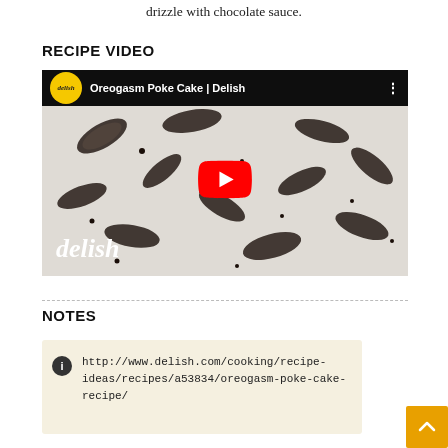drizzle with chocolate sauce.
RECIPE VIDEO
[Figure (screenshot): YouTube video thumbnail for 'Oreogasm Poke Cake | Delish' showing Oreo cookies on a white cream cake, with a red YouTube play button in the center. Delish logo badge top-left and watermark bottom-left.]
NOTES
http://www.delish.com/cooking/recipe-ideas/recipes/a53834/oreogasm-poke-cake-recipe/